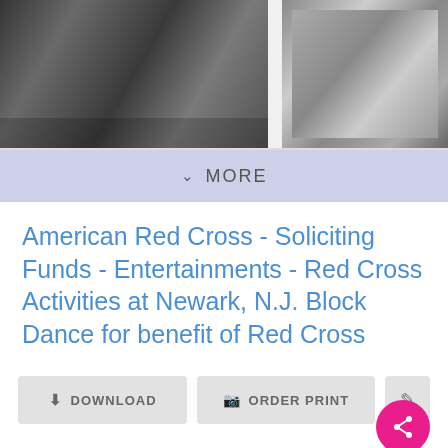[Figure (photo): Two black-and-white photographic thumbnails side by side, both blurred/grainy, showing urban or architectural scenes. Left photo occupies roughly 60% of the strip width, right photo has a white inner frame.]
MORE
American Red Cross - Soliciting Funds - Entertainments - Red Cross Activities at Newark, N.J. Block Dance for benefit of Red Cross
DOWNLOAD   ORDER PRINT